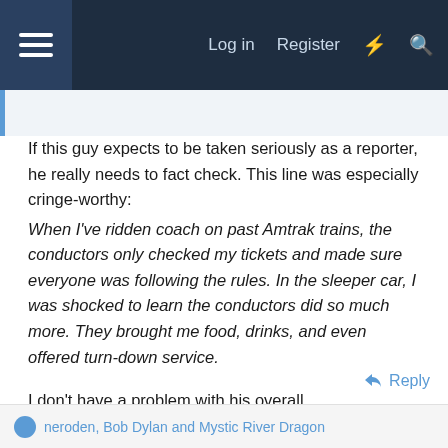Log in  Register
If this guy expects to be taken seriously as a reporter, he really needs to fact check. This line was especially cringe-worthy:
When I've ridden coach on past Amtrak trains, the conductors only checked my tickets and made sure everyone was following the rules. In the sleeper car, I was shocked to learn the conductors did so much more. They brought me food, drinks, and even offered turn-down service.
I don't have a problem with his overall disappointment. I guess that I am just being grumpy about the state of journalism in the era of clickbaits.
↩ Reply
neroden, Bob Dylan and Mystic River Dragon